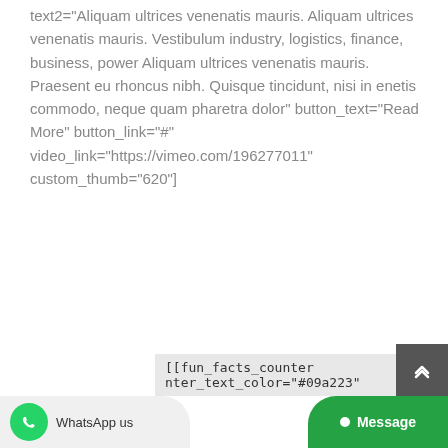text2="Aliquam ultrices venenatis mauris. Aliquam ultrices venenatis mauris. Vestibulum industry, logistics, finance, business, power Aliquam ultrices venenatis mauris. Praesent eu rhoncus nibh. Quisque tincidunt, nisi in enetis commodo, neque quam pharetra dolor" button_text="Read More" button_link="#" video_link="https://vimeo.com/196277011" custom_thumb="620"]
[[fun_facts_counter nter_text_color="#09a223"